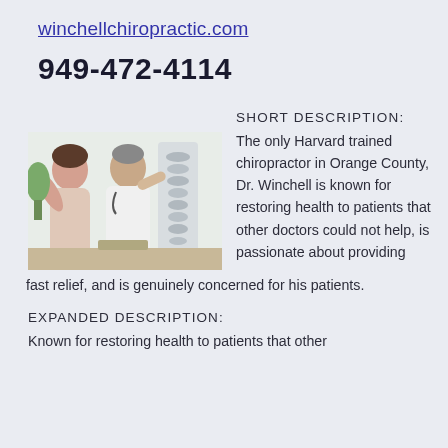winchellchiropractic.com
949-472-4114
[Figure (photo): A chiropractor in a white coat gesturing at a spine model while consulting with a patient in an office setting.]
SHORT DESCRIPTION: The only Harvard trained chiropractor in Orange County, Dr. Winchell is known for restoring health to patients that other doctors could not help, is passionate about providing fast relief, and is genuinely concerned for his patients.
EXPANDED DESCRIPTION:
Known for restoring health to patients that other